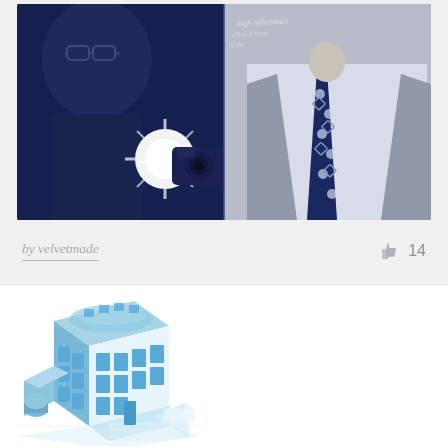[Figure (photo): A dark blue-toned photo collage showing a person with glasses on the left half and a man in a suit with a patterned tie on the right half, with a bright camera flash/light in the center-left area and handwritten text overlay at the top]
by velvetmade
14
[Figure (illustration): An isometric illustration of a blue and white commercial/industrial building complex with windows and architectural details]